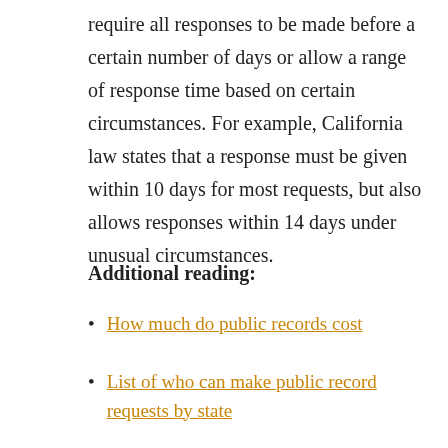require all responses to be made before a certain number of days or allow a range of response time based on certain circumstances. For example, California law states that a response must be given within 10 days for most requests, but also allows responses within 14 days under unusual circumstances.
Additional reading:
How much do public records cost
List of who can make public record requests by state